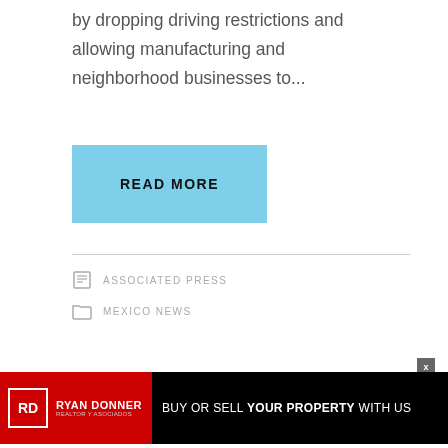by dropping driving restrictions and allowing manufacturing and neighborhood businesses to...
[Figure (screenshot): Blue 'READ MORE' button]
ASSOCIATED PRESS
MEXICO NEWS
[Figure (infographic): Ryan Donner Realtor y Asociados advertisement banner: BUY OR SELL YOUR PROPERTY WITH US]